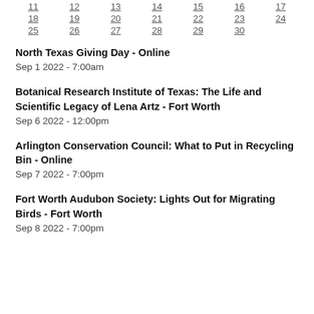| 11 | 12 | 13 | 14 | 15 | 16 | 17 |
| 18 | 19 | 20 | 21 | 22 | 23 | 24 |
| 25 | 26 | 27 | 28 | 29 | 30 |  |
North Texas Giving Day - Online
Sep 1 2022 - 7:00am
Botanical Research Institute of Texas: The Life and Scientific Legacy of Lena Artz - Fort Worth
Sep 6 2022 - 12:00pm
Arlington Conservation Council: What to Put in Recycling Bin - Online
Sep 7 2022 - 7:00pm
Fort Worth Audubon Society: Lights Out for Migrating Birds - Fort Worth
Sep 8 2022 - 7:00pm